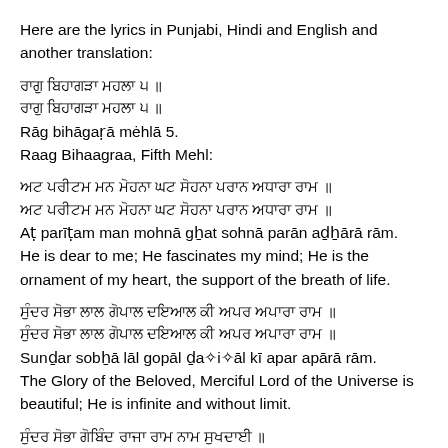Here are the lyrics in Punjabi, Hindi and English and another translation:
ਰਾਗੁ ਬਿਹਾਗੜਾ ਮਹਲਾ ੫ ॥
ਰਾਗੁ ਬਿਹਾਗੜਾ ਮਹਲਾ ੫ ॥
Rāg bihāgaṛā mėhlā 5.
Raag Bihaagraa, Fifth Mehl:
ਅਟ ਪਰੀਟਮ ਮਨ ਮੋਹਨਾ ਘਟ ਸੋਹਨਾ ਪਰਾਨ ਅਧਾਰਾ ਰਾਮ ॥
ਅਟ ਪਰੀਟਮ ਮਨ ਮੋਹਨਾ ਘਟ ਸੋਹਨਾ ਪਰਾਨ ਅਧਾਰਾ ਰਾਮ ॥
Aṭ parīṭam man mohnā gẖat sohnā parān aḏẖārā rām.
He is dear to me; He fascinates my mind; He is the ornament of my heart, the support of the breath of life.
ਸੁੰਦਰ ਸੋਭਾ ਲਾਲ ਗੋਪਾਲ ਦਇਆਲ ਕੀ ਅਪਰ ਅਪਾਰਾ ਰਾਮ ॥
ਸੁੰਦਰ ਸੋਭਾ ਲਾਲ ਗੋਪਾਲ ਦਇਆਲ ਕੀ ਅਪਰ ਅਪਾਰਾ ਰਾਮ ॥
Sunḏar sobẖā lāl gopāl ḏa✧i✧āl kī apar apārā rām.
The Glory of the Beloved, Merciful Lord of the Universe is beautiful; He is infinite and without limit.
ਸੁੰਦਰ ਸੋਭਾ ਗੋਬਿੰਦ ਰਾਜਾ ਰਾਮ ਨਾਮ ਸੁਖਦਾਈ ॥
ਸੁੰਦਰ ਸੋਭਾ ਗੋਬਿੰਦ ਰਾਜਾ ਰਾਮ ਨਾਮ ਸੁਖਦਾਈ ॥